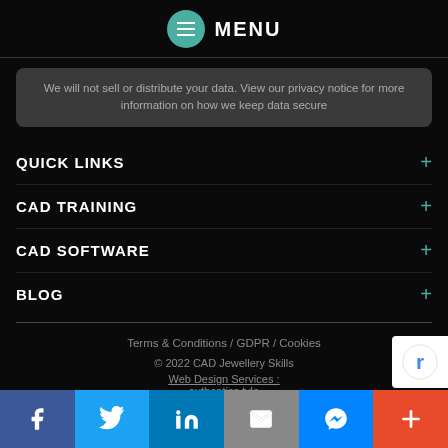MENU
We will not sell or distribute your data. View our privacy notice for more information on how we keep data secure
QUICK LINKS +
CAD TRAINING +
CAD SOFTWARE +
BLOG +
Terms & Conditions / GDPR / Cookies
© 2022 CAD Jewellery Skills
Web Design Services :
authentics.tyle
Facebook | Twitter | LinkedIn | Email | Messenger | More